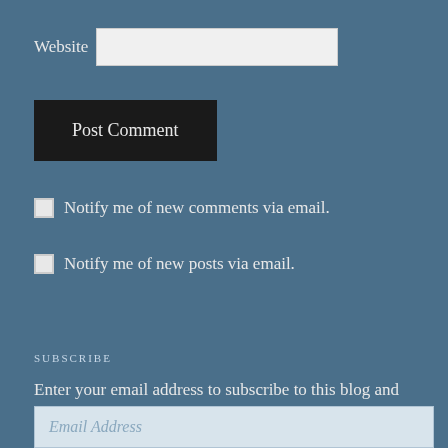Website
Post Comment
Notify me of new comments via email.
Notify me of new posts via email.
SUBSCRIBE
Enter your email address to subscribe to this blog and receive notifications of new posts by email.
Email Address